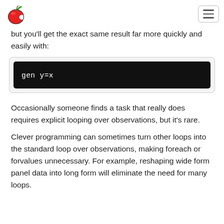[Apple logo] [Hamburger menu]
but you'll get the exact same result far more quickly and easily with:
[Figure (screenshot): Dark terminal/code block showing: gen y=x]
Occasionally someone finds a task that really does requires explicit looping over observations, but it's rare.
Clever programming can sometimes turn other loops into the standard loop over observations, making foreach or forvalues unnecessary. For example, reshaping wide form panel data into long form will eliminate the need for many loops.